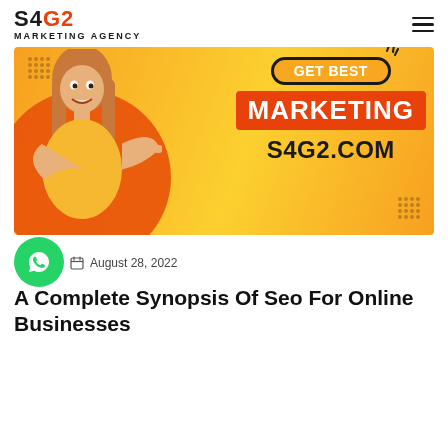S4G2 MARKETING AGENCY
[Figure (illustration): Marketing agency banner with woman pointing, text 'GET BEST MARKETING S4G2.COM' on yellow/orange background]
August 28, 2022
A Complete Synopsis Of Seo For Online Businesses